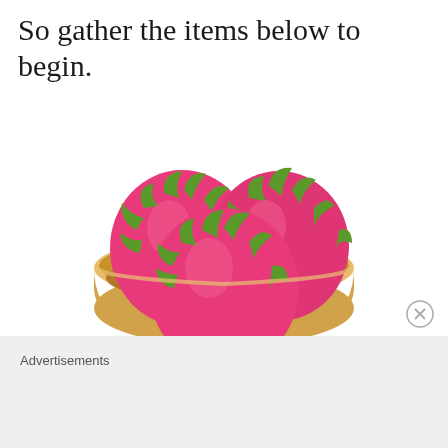So gather the items below to begin.
[Figure (photo): Three pink dragon fruits (pitaya) with green tips arranged in a round wooden bowl on a white background.]
Advertisements